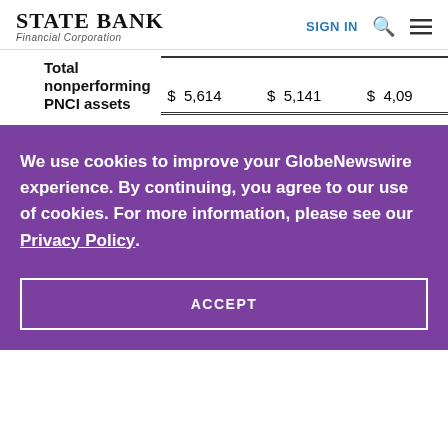STATE BANK Financial Corporation — SIGN IN
|  |  |  |  |
| --- | --- | --- | --- |
| Total nonperforming PNCI assets | $ 5,614 | $ 5,141 | $ 4,09 |
We use cookies to improve your GlobeNewswire experience. By continuing, you agree to our use of cookies. For more information, please see our Privacy Policy.
ACCEPT